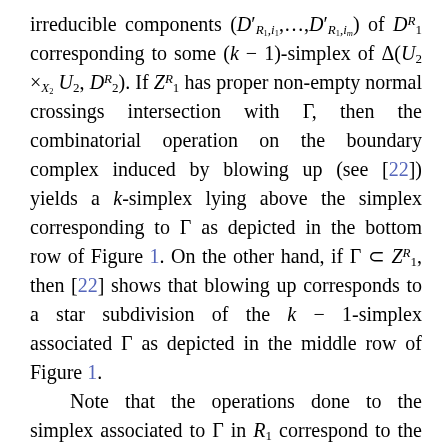irreducible components (D′_{R_1,i_1},...,D′_{R_1,i_m}) of D^R_1 corresponding to some (k − 1)-simplex of Δ(U_2 ×_{X_2} U_2, D^R_2). If Z^R_1 has proper non-empty normal crossings intersection with Γ, then the combinatorial operation on the boundary complex induced by blowing up (see [22]) yields a k-simplex lying above the simplex corresponding to Γ as depicted in the bottom row of Figure 1. On the other hand, if Γ ⊂ Z^R_1, then [22] shows that blowing up corresponds to a star subdivision of the k − 1-simplex associated Γ as depicted in the middle row of Figure 1. Note that the operations done to the simplex associated to Γ in R_1 correspond to the same operations done to the simplex associated to π_i(Γ)